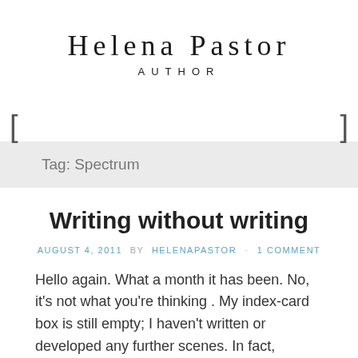Helena Pastor
AUTHOR
Tag: Spectrum
Writing without writing
AUGUST 4, 2011 BY HELENAPASTOR · 1 COMMENT
Hello again. What a month it has been. No, it's not what you're thinking . My index-card box is still empty; I haven't written or developed any further scenes. In fact,